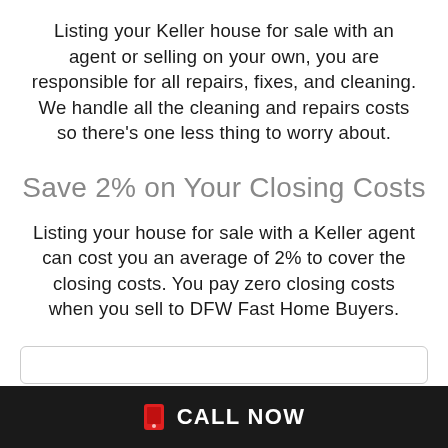Listing your Keller house for sale with an agent or selling on your own, you are responsible for all repairs, fixes, and cleaning. We handle all the cleaning and repairs costs so there's one less thing to worry about.
Save 2% on Your Closing Costs
Listing your house for sale with a Keller agent can cost you an average of 2% to cover the closing costs. You pay zero closing costs when you sell to DFW Fast Home Buyers.
CALL NOW